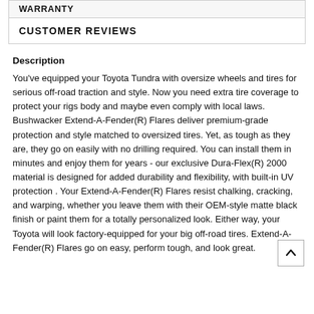WARRANTY
CUSTOMER REVIEWS
Description
You've equipped your Toyota Tundra with oversize wheels and tires for serious off-road traction and style. Now you need extra tire coverage to protect your rigs body and maybe even comply with local laws. Bushwacker Extend-A-Fender(R) Flares deliver premium-grade protection and style matched to oversized tires. Yet, as tough as they are, they go on easily with no drilling required. You can install them in minutes and enjoy them for years - our exclusive Dura-Flex(R) 2000 material is designed for added durability and flexibility, with built-in UV protection . Your Extend-A-Fender(R) Flares resist chalking, cracking, and warping, whether you leave them with their OEM-style matte black finish or paint them for a totally personalized look. Either way, your Toyota will look factory-equipped for your big off-road tires. Extend-A-Fender(R) Flares go on easy, perform tough, and look great.